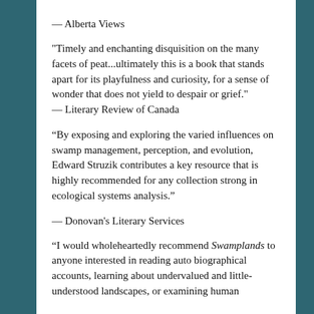— Alberta Views
"Timely and enchanting disquisition on the many facets of peat...ultimately this is a book that stands apart for its playfulness and curiosity, for a sense of wonder that does not yield to despair or grief."
— Literary Review of Canada
“By exposing and exploring the varied influences on swamp management, perception, and evolution, Edward Struzik contributes a key resource that is highly recommended for any collection strong in ecological systems analysis.”
— Donovan's Literary Services
“I would wholeheartedly recommend Swamplands to anyone interested in reading auto biographical accounts, learning about undervalued and little-understood landscapes, or examining human interactions with the natural world and its inhabitants.